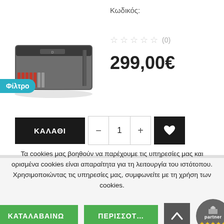[Figure (photo): Car audio amplifier product photo, dark grey/black rectangular device with red connectors]
Φίλτρο
Κωδικός:
☆☆☆☆☆ (0)
299,00€
ΚΑΛΑΘΙ
1
Τα cookies μας βοηθούν να παρέχουμε τις υπηρεσίες μας και ορισμένα cookies είναι απαραίτητα για τη λειτουργία του ιστότοπου. Χρησιμοποιώντας τις υπηρεσίες μας, συμφωνείτε με τη χρήση των cookies.
ΚΑΤΑΛΑΒΑΙΝΩ
ΠΕΡΙΣΣΟΤ…
partner ★★★★★